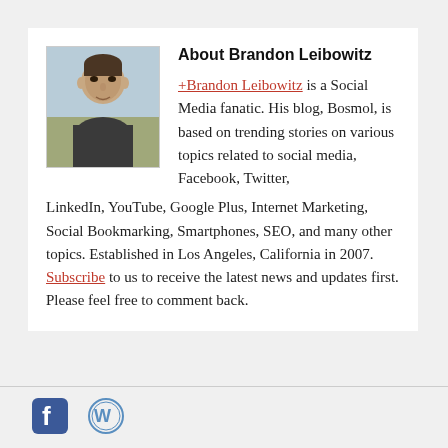About Brandon Leibowitz
[Figure (photo): Headshot photo of Brandon Leibowitz, a young man outdoors with a blurred landscape background.]
+Brandon Leibowitz is a Social Media fanatic. His blog, Bosmol, is based on trending stories on various topics related to social media, Facebook, Twitter, LinkedIn, YouTube, Google Plus, Internet Marketing, Social Bookmarking, Smartphones, SEO, and many other topics. Established in Los Angeles, California in 2007. Subscribe to us to receive the latest news and updates first. Please feel free to comment back.
[Figure (logo): Facebook icon logo]
[Figure (logo): WordPress icon logo]